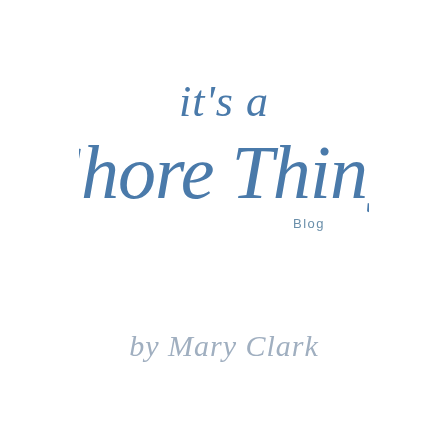[Figure (logo): Handwritten script logo reading 'it's a Shore Thing Blog' in blue calligraphy lettering]
by Mary Clark